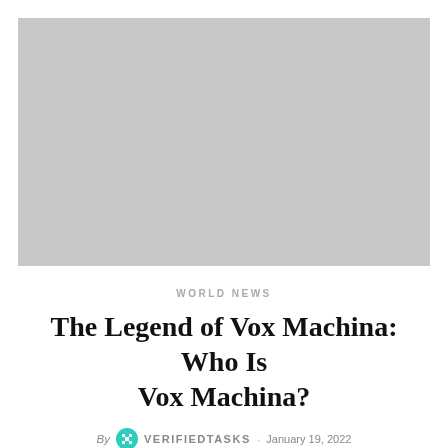[Figure (photo): Large grey placeholder hero image at the top of the article]
WORLD NEWS
The Legend of Vox Machina: Who Is Vox Machina?
By VERIFIEDTASKS · January 19, 2022
Vox Machina, a team of five players in the online game